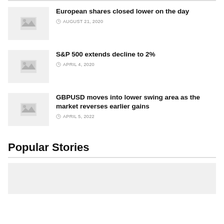European shares closed lower on the day — AUGUST 21, 2020
S&P 500 extends decline to 2% — APRIL 4, 2020
GBPUSD moves into lower swing area as the market reverses earlier gains — APRIL 5, 2022
Popular Stories